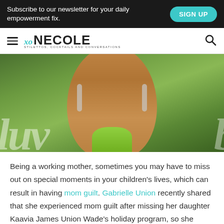Subscribe to our newsletter for your daily empowerment fix.  SIGN UP
[Figure (logo): XO Necole logo with hamburger menu and search icon navigation bar]
[Figure (photo): Close-up portrait of a Black woman wearing a green halter top and large crystal/silver drop earrings, with a blurred green leafy background and white script text]
Being a working mother, sometimes you may have to miss out on special moments in your children's lives, which can result in having mom guilt. Gabrielle Union recently shared that she experienced mom guilt after missing her daughter Kaavia James Union Wade's holiday program, so she